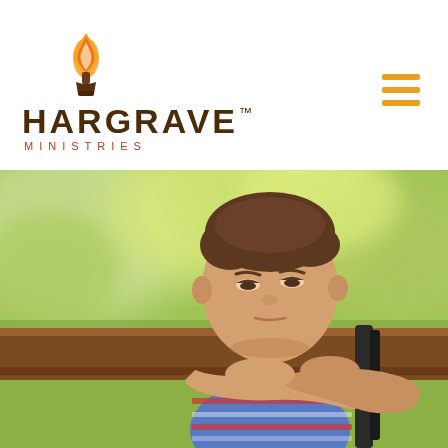[Figure (logo): Hargrave Ministries logo: flame icon above torch/cup, text HARGRAVE with TM mark, MINISTRIES below in red spaced letters]
[Figure (other): Hamburger menu icon — three horizontal orange lines stacked]
[Figure (photo): A young boy with short brown hair resting his chin and crossed arms on a wooden park bench, looking downward with a sad or bored expression. Blurred green and yellow outdoor background (bokeh). Boy is wearing a blue and red striped short-sleeve shirt.]